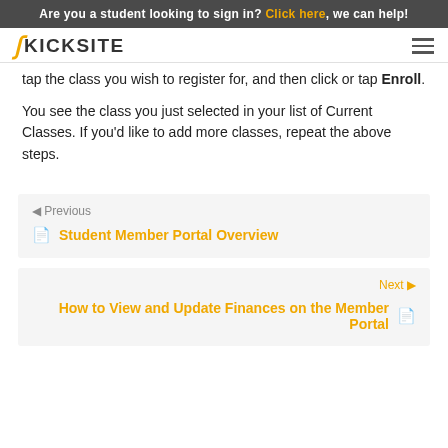Are you a student looking to sign in? Click here, we can help!
[Figure (logo): Kicksite logo with stylized K icon and hamburger menu]
tap the class you wish to register for, and then click or tap Enroll.
You see the class you just selected in your list of Current Classes. If you'd like to add more classes, repeat the above steps.
◄ Previous
📄 Student Member Portal Overview
Next ►
How to View and Update Finances on the Member Portal 📄